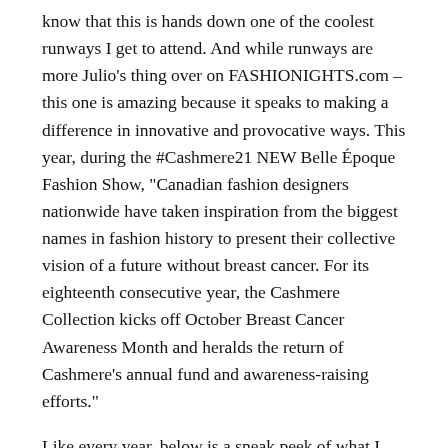know that this is hands down one of the coolest runways I get to attend. And while runways are more Julio's thing over on FASHIONIGHTS.com – this one is amazing because it speaks to making a difference in innovative and provocative ways. This year, during the #Cashmere21 NEW Belle Époque Fashion Show, "Canadian fashion designers nationwide have taken inspiration from the biggest names in fashion history to present their collective vision of a future without breast cancer. For its eighteenth consecutive year, the Cashmere Collection kicks off October Breast Cancer Awareness Month and heralds the return of Cashmere's annual fund and awareness-raising efforts."
Like every year, below is a sneak peek of what I can expect while I attend the exclusive event in person